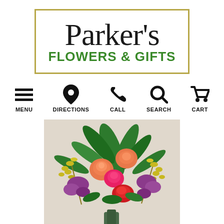[Figure (logo): Parker's Flowers & Gifts logo: script cursive text 'Parker's' above bold green sans-serif text 'FLOWERS & GIFTS', inside a gold-bordered rectangle]
[Figure (infographic): Navigation bar with five icons and labels: hamburger menu (MENU), location pin (DIRECTIONS), phone (CALL), magnifying glass (SEARCH), shopping cart (CART)]
[Figure (photo): Colorful flower bouquet arrangement with orange roses, hot pink roses, red carnations, purple statice, yellow solidago, and green foliage against a neutral beige background]